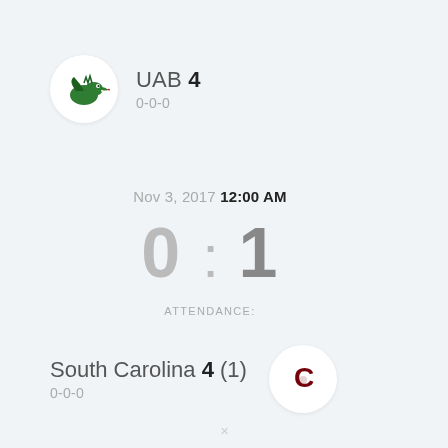UAB 4 / 0-0-0
Nov 3, 2017 12:00 AM
0 : 1
ATTENDANCE:
South Carolina 4 (1) / 0-0-0